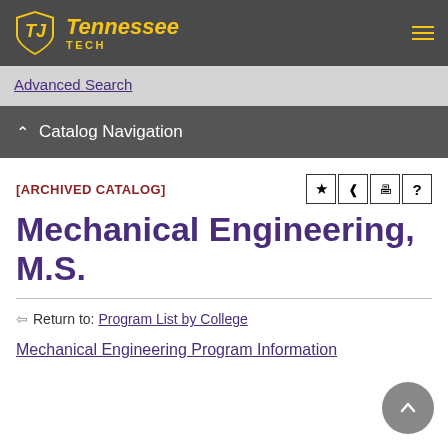Tennessee Tech
Advanced Search
Catalog Navigation
[ARCHIVED CATALOG]
Mechanical Engineering, M.S.
Return to: Program List by College
Mechanical Engineering Program Information